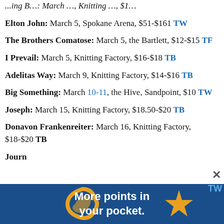Elton John: March 5, Spokane Arena, $51-$161 TW
The Brothers Comatose: March 5, the Bartlett, $12-$15 TF
I Prevail: March 5, Knitting Factory, $16-$18 TB
Adelitas Way: March 9, Knitting Factory, $14-$16 TB
Big Something: March 10-11, the Hive, Sandpoint, $10 TW
Joseph: March 15, Knitting Factory, $18.50-$20 TB
Donavon Frankenreiter: March 16, Knitting Factory, $18-$20 TB
Journ... TW
[Figure (infographic): Advertisement banner: 'More points in your pocket.' on a blue background with orange decorative elements and a close button.]